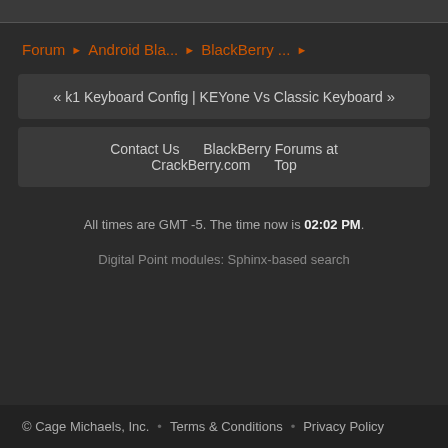Forum ▶ Android Bla... ▶ BlackBerry ... ▶
« k1 Keyboard Config | KEYone Vs Classic Keyboard »
Contact Us  BlackBerry Forums at CrackBerry.com  Top
All times are GMT -5. The time now is 02:02 PM.
Digital Point modules: Sphinx-based search
© Cage Michaels, Inc.  •  Terms & Conditions  •  Privacy Policy